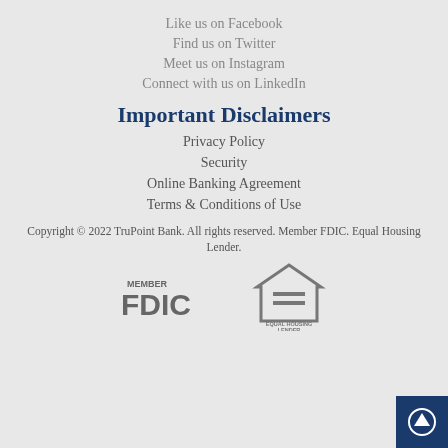Like us on Facebook
Find us on Twitter
Meet us on Instagram
Connect with us on LinkedIn
Important Disclaimers
Privacy Policy
Security
Online Banking Agreement
Terms & Conditions of Use
Copyright © 2022 TruPoint Bank. All rights reserved. Member FDIC. Equal Housing Lender.
[Figure (logo): Member FDIC logo and Equal Housing Lender logo]
[Figure (other): Scroll to top button with upward arrow]